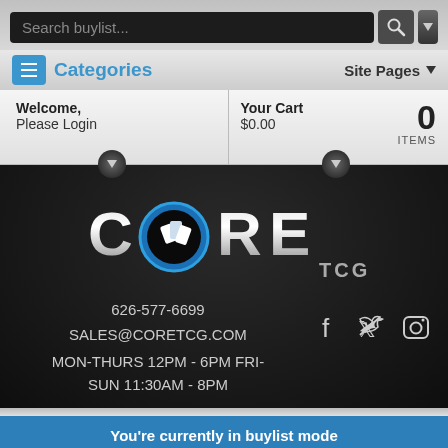[Figure (screenshot): Search buylist input bar with search icon button and dropdown arrow button]
Categories   Site Pages
| Welcome | Your Cart |
| --- | --- |
| Welcome,
Please Login | Your Cart
$0.00    0
ITEMS |
[Figure (logo): CORE TCG logo with circular card fan emblem and metallic text]
626-577-6699
SALES@CORETCG.COM
MON-THURS 12PM - 6PM FRI-
SUN 11:30AM - 8PM
[Figure (infographic): Social media icons: Facebook, Twitter, Instagram]
You're currently in buylist mode